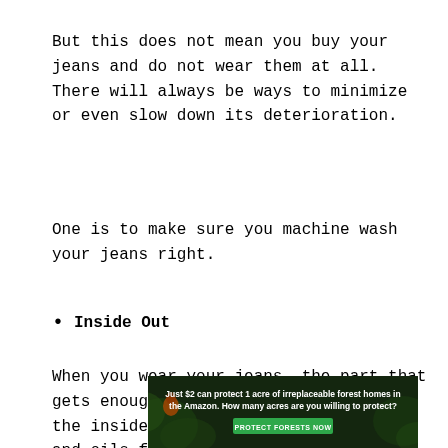But this does not mean you buy your jeans and do not wear them at all. There will always be ways to minimize or even slow down its deterioration.
One is to make sure you machine wash your jeans right.
Inside Out
When you wear your jeans, the part that gets enough contact with your skin is the inside part. This means that sweat and oils from your skin attach themselves to the inside part of the jeans.
[Figure (infographic): Advertisement banner: 'Just $2 can protect 1 acre of irreplaceable forest homes in the Amazon. How many acres are you willing to protect?' with a green 'PROTECT FORESTS NOW' button, dark forest background.]